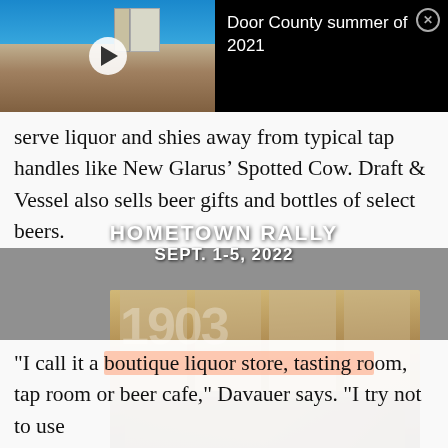[Figure (screenshot): Video thumbnail showing a building with blue sky, with a play button overlay]
Door County summer of 2021
serve liquor and shies away from typical tap handles like New Glarus Spotted Cow. Draft & Vessel also sells beer gifts and bottles of select beers.
[Figure (photo): Photo of motorcycles parked in front of a building with large garage doors and the number 1903 visible. Overlaid text: HOMETOWN RALLY SEPT. 1-5, 2022]
"I call it a boutique liquor store, tasting room, tap room or beer cafe," Davauer says. "I try not to use